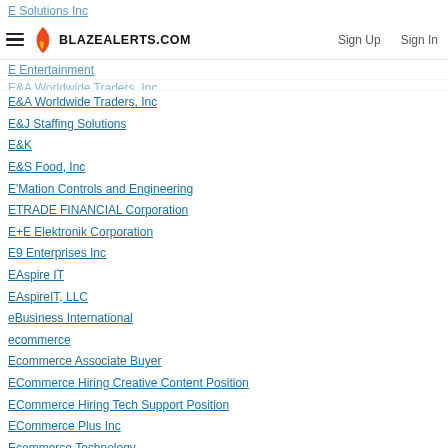E Solutions Inc
BLAZEALERTS.COM | Sign Up | Sign In
E Entertainment
E&A Worldwide Traders, Inc
E&J Staffing Solutions
E&K
E&S Food, Inc
E'Mation Controls and Engineering
ETRADE FINANCIAL Corporation
E+E Elektronik Corporation
E9 Enterprises Inc
EAspire IT
EAspireIT, LLC
eBusiness International
ecommerce
Ecommerce Associate Buyer
ECommerce Hiring Creative Content Position
ECommerce Hiring Tech Support Position
ECommerce Plus Inc
Ecommerce Technology
EComplete LLC
edr Network
eforecastingcom